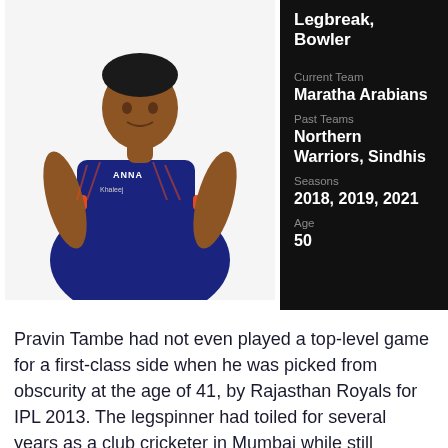[Figure (photo): Cricket player in navy blue and orange jersey with ANNA and Khaleej text visible, posing sideways]
Legbreak, Bowler
Current Team
Maratha Arabians
Past Teams
Northern Warriors, Sindhis
Seasons
2018, 2019, 2021
Age
50
Pravin Tambe had not even played a top-level game for a first-class side when he was picked from obscurity at the age of 41, by Rajasthan Royals for IPL 2013. The legspinner had toiled for several years as a club cricketer in Mumbai while still holding down a day job. Until the Royals scouts spotted his talent, his closest brush with